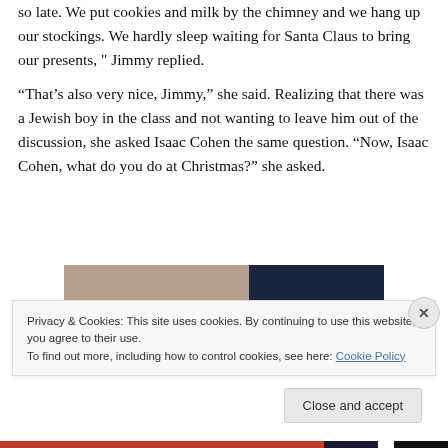so late. We put cookies and milk by the chimney and we hang up our stockings. We hardly sleep waiting for Santa Claus to bring our presents, " Jimmy replied.
“That’s also very nice, Jimmy,” she said. Realizing that there was a Jewish boy in the class and not wanting to leave him out of the discussion, she asked Isaac Cohen the same question. “Now, Isaac Cohen, what do you do at Christmas?” she asked.
[Figure (photo): Partial image showing hands on the left side with a dark navy blue rectangle on the right side.]
Privacy & Cookies: This site uses cookies. By continuing to use this website, you agree to their use.
To find out more, including how to control cookies, see here: Cookie Policy